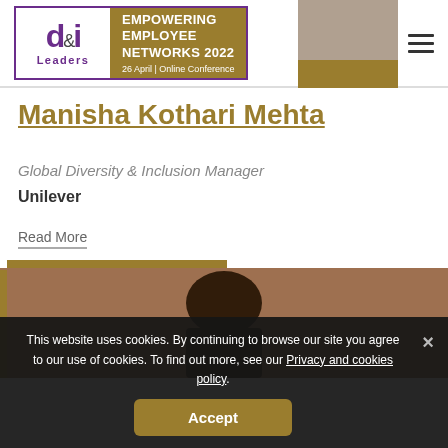d&i Leaders — EMPOWERING EMPLOYEE NETWORKS 2022 — 26 April | Online Conference
Manisha Kothari Mehta
Global Diversity & Inclusion Manager
Unilever
Read More
[Figure (photo): Photo of a person — top of head visible, dark hair, cropped image]
This website uses cookies. By continuing to browse our site you agree to our use of cookies. To find out more, see our Privacy and cookies policy.